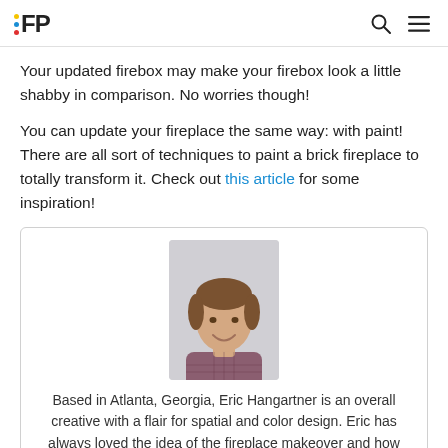FP
Your updated firebox may make your firebox look a little shabby in comparison. No worries though!
You can update your fireplace the same way: with paint! There are all sort of techniques to paint a brick fireplace to totally transform it. Check out this article for some inspiration!
[Figure (photo): Author photo of Eric Hangartner, a young man smiling, wearing a plaid shirt, with a light gray background]
Based in Atlanta, Georgia, Eric Hangartner is an overall creative with a flair for spatial and color design. Eric has always loved the idea of the fireplace makeover and how much can be done to improve the look of the home. Eric